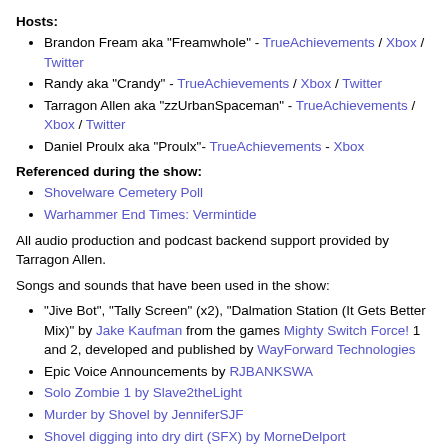Hosts:
Brandon Fream aka "Freamwhole" - TrueAchievements / Xbox / Twitter
Randy aka "Crandy" - TrueAchievements / Xbox / Twitter
Tarragon Allen aka "zzUrbanSpaceman" - TrueAchievements / Xbox / Twitter
Daniel Proulx aka "Proulx"- TrueAchievements - Xbox
Referenced during the show:
Shovelware Cemetery Poll
Warhammer End Times: Vermintide
All audio production and podcast backend support provided by Tarragon Allen.
Songs and sounds that have been used in the show:
"Jive Bot", "Tally Screen" (x2), "Dalmation Station (It Gets Better Mix)" by Jake Kaufman from the games Mighty Switch Force! 1 and 2, developed and published by WayForward Technologies
Epic Voice Announcements by RJBANKSWA
Solo Zombie 1 by Slave2theLight
Murder by Shovel by JenniferSJF
Shovel digging into dry dirt (SFX) by MorneDelport
FP_Burial_In_Wooden_Coffin by cmusounddesign
Zed to Zed use and would like to thank the following products and services for making the podcast and the community possible: